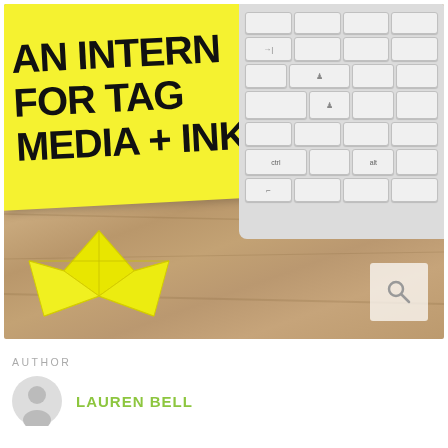[Figure (photo): A wooden desk surface with a yellow sticky note reading 'AN INTERN FOR TAG MEDIA + INK', an Apple keyboard in the upper right, and a yellow paper origami star in the lower left. A white search icon box appears in the lower right corner.]
AUTHOR
LAUREN BELL